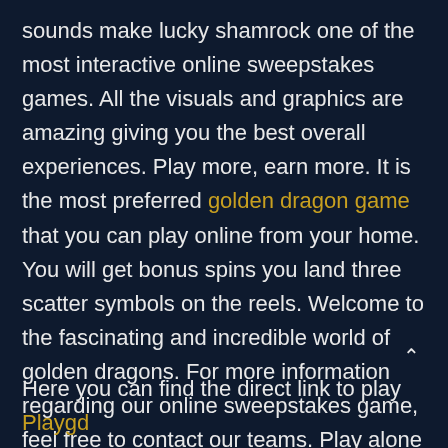sounds make lucky shamrock one of the most interactive online sweepstakes games. All the visuals and graphics are amazing giving you the best overall experiences. Play more, earn more. It is the most preferred golden dragon game that you can play online from your home. You will get bonus spins you land three scatter symbols on the reels. Welcome to the fascinating and incredible world of golden dragons. For more information regarding our online sweepstakes game, feel free to contact our teams. Play alone or play with your friends, you will have a great time Gd mobile lucky shamrock.
Here you can find the direct link to play Playgd